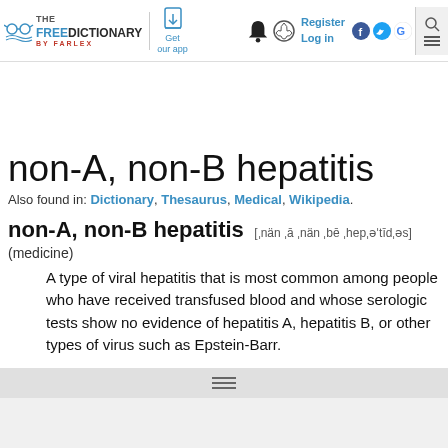[Figure (logo): The Free Dictionary by Farlex logo with glasses icon]
non-A, non-B hepatitis
Also found in: Dictionary, Thesaurus, Medical, Wikipedia.
non-A, non-B hepatitis [ˌnän ˌā ˌnän ˌbē ˌhepˌəˈtīdˌəs]
(medicine)
A type of viral hepatitis that is most common among people who have received transfused blood and whose serologic tests show no evidence of hepatitis A, hepatitis B, or other types of virus such as Epstein-Barr.